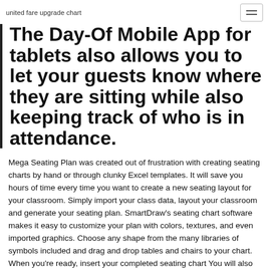united fare upgrade chart
The Day-Of Mobile App for tablets also allows you to let your guests know where they are sitting while also keeping track of who is in attendance.
Mega Seating Plan was created out of frustration with creating seating charts by hand or through clunky Excel templates. It will save you hours of time every time you want to create a new seating layout for your classroom. Simply import your class data, layout your classroom and generate your seating plan. SmartDraw's seating chart software makes it easy to customize your plan with colors, textures, and even imported graphics. Choose any shape from the many libraries of symbols included and drag and drop tables and chairs to your chart. When you're ready, insert your completed seating chart You will also have direct access to the master wedding seating chart maker